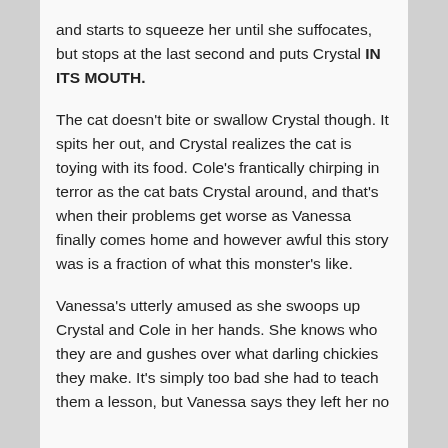and starts to squeeze her until she suffocates, but stops at the last second and puts Crystal IN ITS MOUTH.
The cat doesn't bite or swallow Crystal though. It spits her out, and Crystal realizes the cat is toying with its food. Cole's frantically chirping in terror as the cat bats Crystal around, and that's when their problems get worse as Vanessa finally comes home and however awful this story was is a fraction of what this monster's like.
Vanessa's utterly amused as she swoops up Crystal and Cole in her hands. She knows who they are and gushes over what darling chickies they make. It's simply too bad she had to teach them a lesson, but Vanessa says they left her no